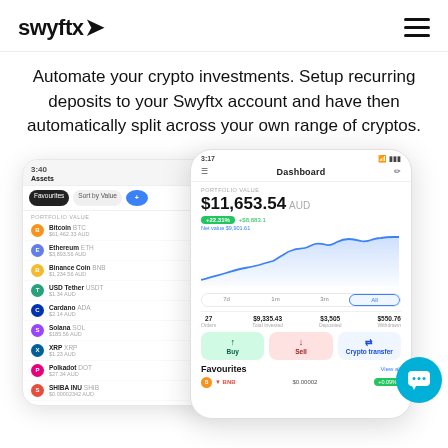[Figure (logo): Swyftx logo with stylized arrow]
Automate your crypto investments. Setup recurring deposits to your Swyftx account and have then automatically split across your own range of cryptos.
[Figure (screenshot): Two mobile app screenshots showing Swyftx crypto trading app. Left screen shows Assets list with Bitcoin, Ethereum, Binance Coin, USD Tether, Cardano, Solana, XRP, Polkadot, SHIBA INU. Right screen shows Dashboard with portfolio value $11,653.54 AUD, line chart, stats (27 Orders, $9,335.43 Total Invested, $3,505 Deposited, $550.76 Withdrawn), Buy/Sell/Crypto transfer buttons, and Favourites section.]